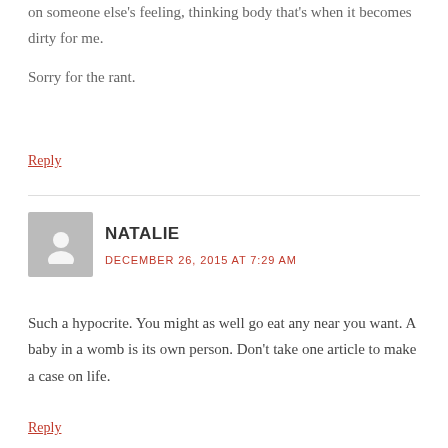on someone else's feeling, thinking body that's when it becomes dirty for me.
Sorry for the rant.
Reply
NATALIE
DECEMBER 26, 2015 AT 7:29 AM
Such a hypocrite. You might as well go eat any near you want. A baby in a womb is its own person. Don't take one article to make a case on life.
Reply